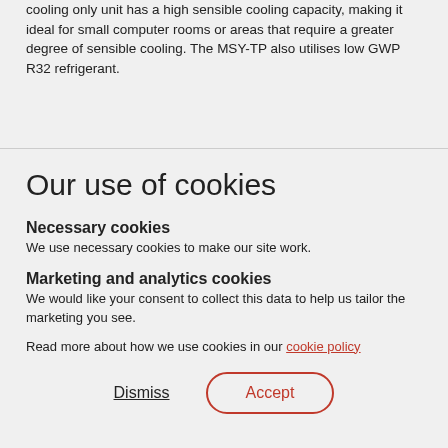cooling only unit has a high sensible cooling capacity, making it ideal for small computer rooms or areas that require a greater degree of sensible cooling. The MSY-TP also utilises low GWP R32 refrigerant.
Our use of cookies
Necessary cookies
We use necessary cookies to make our site work.
Marketing and analytics cookies
We would like your consent to collect this data to help us tailor the marketing you see.
Read more about how we use cookies in our cookie policy
Dismiss
Accept